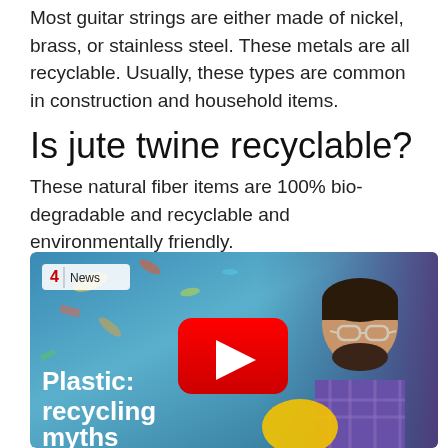Most guitar strings are either made of nickel, brass, or stainless steel. These metals are all recyclable. Usually, these types are common in construction and household items.
Is jute twine recyclable?
These natural fiber items are 100% bio-degradable and recyclable and environmentally friendly.
[Figure (screenshot): YouTube video thumbnail showing a Channel 4 News video titled 'Plastic: recycling myths' with a man wearing glasses and a plaid shirt, surrounded by plastic debris background. A red YouTube play button is visible in the center.]